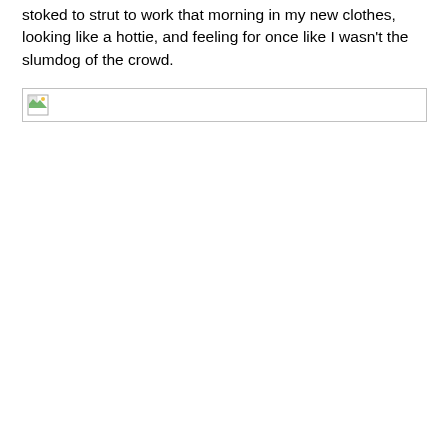stoked to strut to work that morning in my new clothes, looking like a hottie, and feeling for once like I wasn't the slumdog of the crowd.
[Figure (other): Broken image placeholder — a small icon indicating a missing or unloaded image, displayed inside a rectangular border]